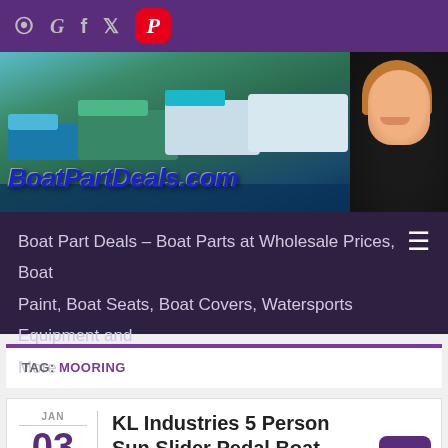Social icons: RSS, Google, Facebook, Twitter, Pinterest
[Figure (photo): Banner photo of a marina with boats docked, with BoatPartDeals.com logo text overlaid in bold italic blue, and a smiling blonde woman on the right side]
Boat Part Deals – Boat Parts at Wholesale Prices, Boat Paint, Boat Seats, Boat Covers, Watersports Equipment and More
TAG: MOORING
KL Industries 5 Person Sun Slider Pedal Boat Mooring
JAN 03 2014